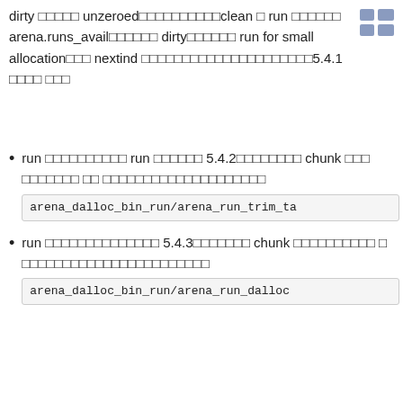dirty □□□□□ unzeroed□□□□□□□□□□clean □ run □□□□□□□ arena.runs_avail□□□□□□ dirty□□□□□□□ run for small allocation□□□ nextind □□□□□□□□□□□□□□□□□□□□□5.4.1 □□□□ □□□
run □□□□□□□□□□□ run □□□□□□ 5.4.2□□□□□□□□□ chunk □□□ □□□□□□□ □□ □□□□□□□□□□□□□□□□□□□□□
arena_dalloc_bin_run/arena_run_trim_ta
run □□□□□□□□□□□□□□ 5.4.3□□□□□□□□□ chunk □□□□□□□□□□ □ □□□□□□□□□□□□□□□□□□□□□□
arena_dalloc_bin_run/arena_run_dalloc
□□□□□□□□□□arena_run_dalloc □□□□□□□□□□□□□□□□□□ run □□□ □□□□ arena_chunk_map_t □□□□□□□□
2.4   □□ chunk
□□ run □□□□□□□□□□ chunk □□□□□□□□□